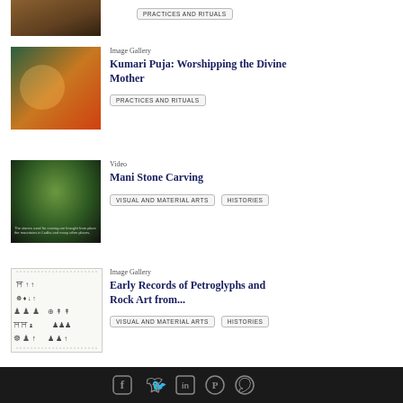PRACTICES AND RITUALS
Image Gallery
Kumari Puja: Worshipping the Divine Mother
PRACTICES AND RITUALS
Video
Mani Stone Carving
VISUAL AND MATERIAL ARTS | HISTORIES
Image Gallery
Early Records of Petroglyphs and Rock Art from...
VISUAL AND MATERIAL ARTS | HISTORIES
Facebook | Twitter | LinkedIn | Pinterest | WhatsApp